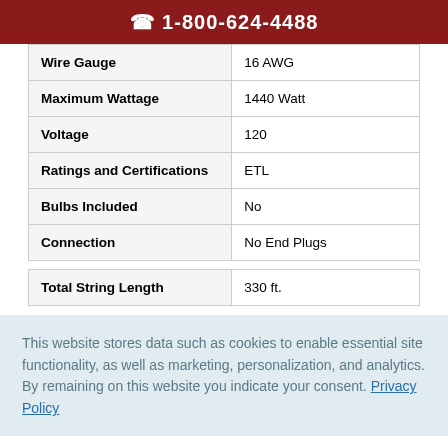📞 1-800-624-4488
| Wire Gauge | 16 AWG |
| Maximum Wattage | 1440 Watt |
| Voltage | 120 |
| Ratings and Certifications | ETL |
| Bulbs Included | No |
| Connection | No End Plugs |
| Total String Length | 330 ft. |
This website stores data such as cookies to enable essential site functionality, as well as marketing, personalization, and analytics. By remaining on this website you indicate your consent. Privacy Policy